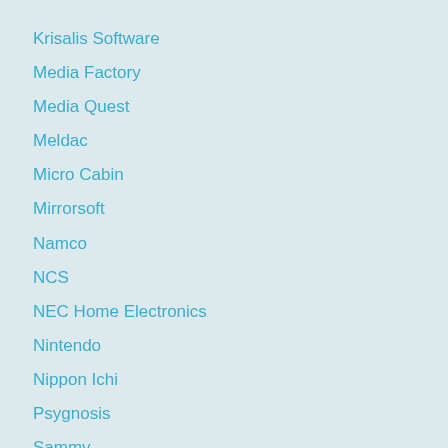Krisalis Software
Media Factory
Media Quest
Meldac
Micro Cabin
Mirrorsoft
Namco
NCS
NEC Home Electronics
Nintendo
Nippon Ichi
Psygnosis
Sammy